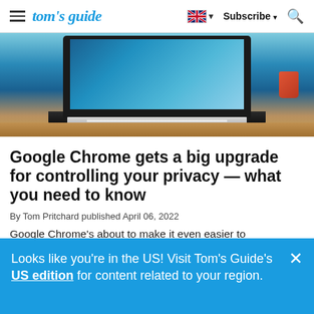tom's guide — Subscribe
[Figure (photo): Photo of a laptop with a blue screen open on a wooden desk, with a red mug in the background]
Google Chrome gets a big upgrade for controlling your privacy — what you need to know
By Tom Pritchard published April 06, 2022
Google Chrome's about to make it even easier to
Looks like you're in the US! Visit Tom's Guide's US edition for content related to your region.